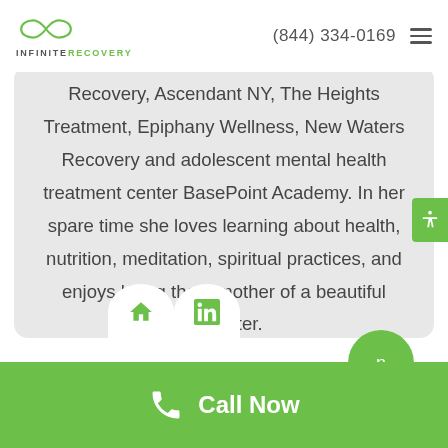INFINITE RECOVERY | (844) 334-0169
Recovery, Ascendant NY, The Heights Treatment, Epiphany Wellness, New Waters Recovery and adolescent mental health treatment center BasePoint Academy. In her spare time she loves learning about health, nutrition, meditation, spiritual practices, and enjoys being the a mother of a beautiful daughter.
Call Now